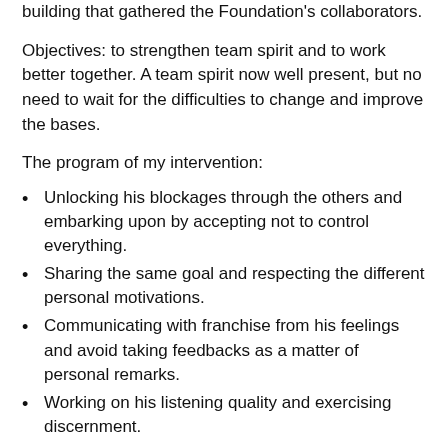building that gathered the Foundation's collaborators.
Objectives: to strengthen team spirit and to work better together. A team spirit now well present, but no need to wait for the difficulties to change and improve the bases.
The program of my intervention:
Unlocking his blockages through the others and embarking upon by accepting not to control everything.
Sharing the same goal and respecting the different personal motivations.
Communicating with franchise from his feelings and avoid taking feedbacks as a matter of personal remarks.
Working on his listening quality and exercising discernment.
Keeping his course and managing the unexpected.